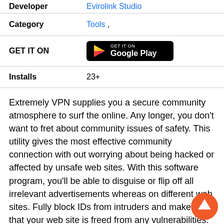| Developer | Evirolink Studio |
| Category | Tools , |
| GET IT ON | [Google Play button] |
| Installs | 23+ |
Extremely VPN supplies you a secure community atmosphere to surf the online. Any longer, you don't want to fret about community issues of safety. This utility gives the most effective community connection with out worrying about being hacked or affected by unsafe web sites. With this software program, you'll be able to disguise or flip off all irrelevant advertisements whereas on different web sites. Fully block IDs from intruders and make sure that your web site is freed from any vulnerabilities.
[Figure (other): Orange circle scroll-up button with white upward arrow]